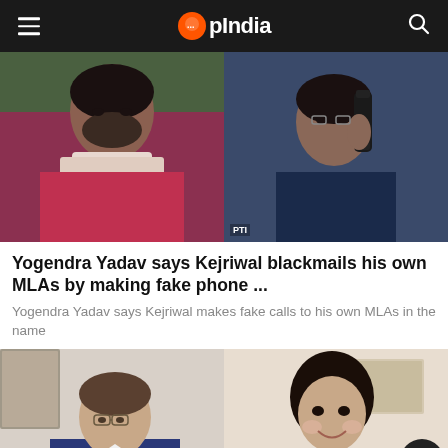OpIndia
[Figure (photo): Two photos side by side: left shows a man in a red/pink kurta with a white scarf (Yogendra Yadav), right shows a man in a dark blue jacket holding a phone to his ear (Arvind Kejriwal), with PTI watermark]
Yogendra Yadav says Kejriwal blackmails his own MLAs by making fake phone ...
Yogendra Yadav says Kejriwal makes fake calls to his own MLAs in the name
[Figure (photo): Two photos side by side at bottom: left shows a man with glasses in a suit sitting at a desk, right shows a young woman smiling]